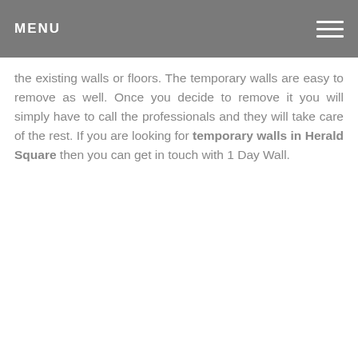MENU
the existing walls or floors. The temporary walls are easy to remove as well. Once you decide to remove it you will simply have to call the professionals and they will take care of the rest. If you are looking for temporary walls in Herald Square then you can get in touch with 1 Day Wall.